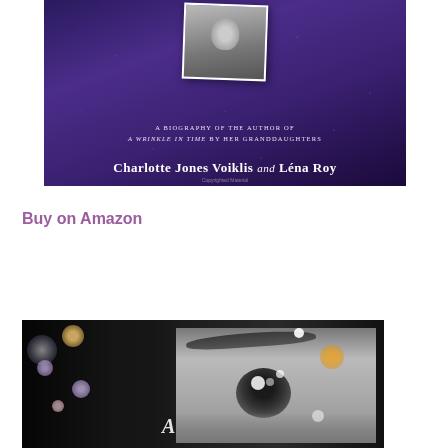[Figure (photo): Book cover with purple/blue starry night background, black and white photo inset of a person, subtitle 'A Biography of the Author of A Wrinkle in Time by Her Granddaughters', authors Charlotte Jones Voiklis and Léna Roy, with watermark 'Copyrighted Material']
Buy on Amazon
[Figure (photo): Bottom portion of a book cover showing a close-up black and white photograph of a person's eye and eyebrow against dark background, with colorful bokeh dots/bubbles and the letter 'A' visible]